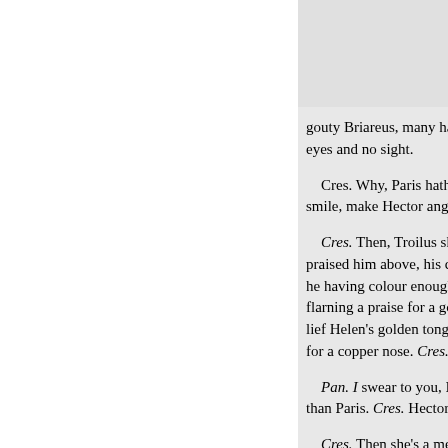gouty Briareus, many hands and eyes and no sight.
    Cres. Why, Paris hath colour e smile, make Hector angry?
    Cres. Then, Troilus should hav praised him above, his complexi he having colour enough, and the flarning a praise for a good comp lief Helen's golden tongue had co for a copper nose. Cres. Who cor
    Pan. I swear to you, I think He than Paris. Cres. Hector's a galla
    Cres. Then she's a merry Gree
    Pan. Nay, I am sure she does.
th' other day into the compassed know, he has not past three or fo Indeed, a tapster's arithmetick ma particulars therein to a total cou